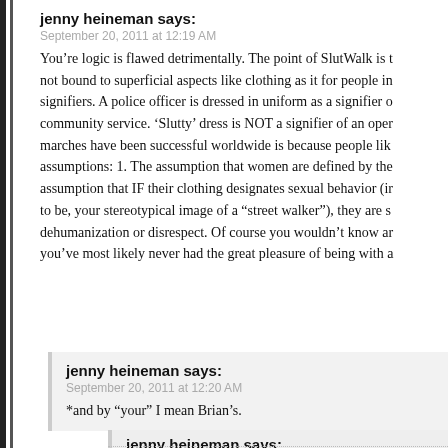jenny heineman says:
September 20, 2011 at 12:19 AM
You’re logic is flawed detrimentally. The point of SlutWalk is t… not bound to superficial aspects like clothing as it for people in… signifiers. A police officer is dressed in uniform as a signifier o… community service. ‘Slutty’ dress is NOT a signifier of an oper… marches have been successful worldwide is because people lik… assumptions: 1. The assumption that women are defined by the… assumption that IF their clothing designates sexual behavior (ir… to be, your stereotypical image of a “street walker”), they are s… dehumanization or disrespect. Of course you wouldn’t know ar… you’ve most likely never had the great pleasure of being with a…
jenny heineman says:
September 20, 2011 at 12:20 AM
*and by “your” I mean Brian’s.
jenny heineman says:
September 20, 2011 at 12:21 AM
Ha! And by “you’re,” I mean “your.”